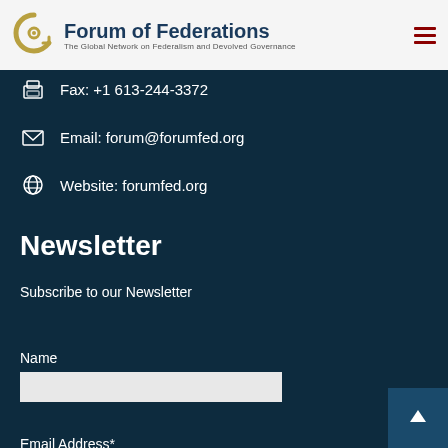Forum of Federations — The Global Network on Federalism and Devolved Governance
Fax: +1 613-244-3372
Email: forum@forumfed.org
Website: forumfed.org
Newsletter
Subscribe to our Newsletter
Name
Email Address*